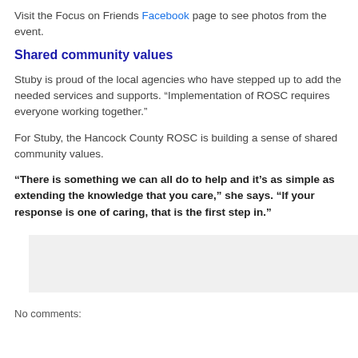Visit the Focus on Friends Facebook page to see photos from the event.
Shared community values
Stuby is proud of the local agencies who have stepped up to add the needed services and supports. “Implementation of ROSC requires everyone working together.”
For Stuby, the Hancock County ROSC is building a sense of shared community values.
“There is something we can all do to help and it’s as simple as extending the knowledge that you care,” she says. “If your response is one of caring, that is the first step in.”
[Figure (other): Gray rectangular box placeholder]
No comments: